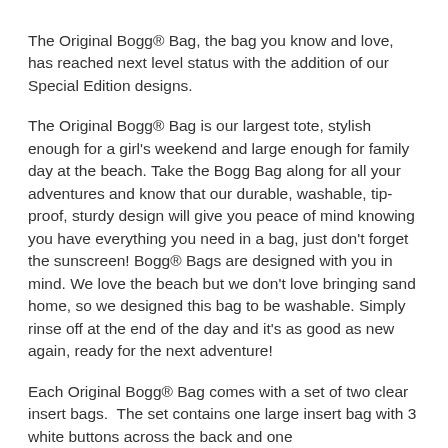The Original Bogg® Bag, the bag you know and love, has reached next level status with the addition of our Special Edition designs.
The Original Bogg® Bag is our largest tote, stylish enough for a girl's weekend and large enough for family day at the beach. Take the Bogg Bag along for all your adventures and know that our durable, washable, tip-proof, sturdy design will give you peace of mind knowing you have everything you need in a bag, just don't forget the sunscreen! Bogg® Bags are designed with you in mind. We love the beach but we don't love bringing sand home, so we designed this bag to be washable. Simply rinse off at the end of the day and it's as good as new again, ready for the next adventure!
Each Original Bogg® Bag comes with a set of two clear insert bags.  The set contains one large insert bag with 3 white buttons across the back and one